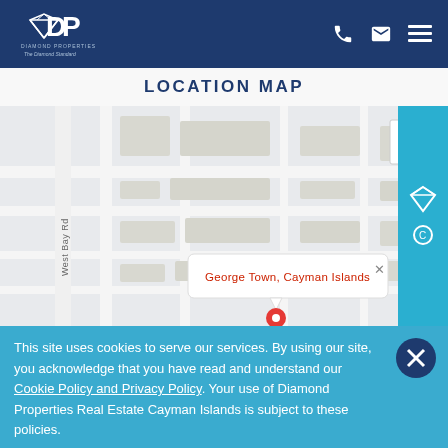Diamond Properties - The Diamond Standard
LOCATION MAP
[Figure (map): Street map showing George Town, Cayman Islands with a map pin marker and info bubble displaying 'George Town, Cayman Islands'. West Bay Rd is visible on the left side of the map.]
This site uses cookies to serve our services. By using our site, you acknowledge that you have read and understand our Cookie Policy and Privacy Policy. Your use of Diamond Properties Real Estate Cayman Islands is subject to these policies.